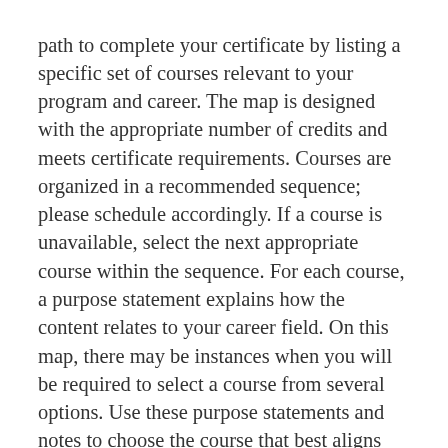path to complete your certificate by listing a specific set of courses relevant to your program and career. The map is designed with the appropriate number of credits and meets certificate requirements. Courses are organized in a recommended sequence; please schedule accordingly. If a course is unavailable, select the next appropriate course within the sequence. For each course, a purpose statement explains how the content relates to your career field. On this map, there may be instances when you will be required to select a course from several options. Use these purpose statements and notes to choose the course that best aligns with your interests and needs. You will also find action items to complete to assure you progress and graduate on time. While this map is a great guide to courses required to complete the Administrative Office Assistant Certificate, you are responsible for fulfilling all certificate requirements. Questions? Your Success